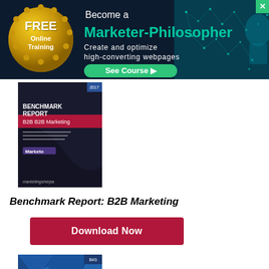[Figure (other): Banner advertisement: FREE Online Training - Become a Marketer-Philosopher - Create and optimize high-converting webpages - See Course button, with teal network graphic and gold wax seal]
[Figure (other): Benchmark Report: B2B Marketing book cover - dark cover with MarketingSherpa branding and Marketo logo]
Benchmark Report: B2B Marketing
[Figure (other): Download Now button - dark red/crimson rectangle]
[Figure (other): Second MarketingSherpa report book cover - blue geometric polygonal design]